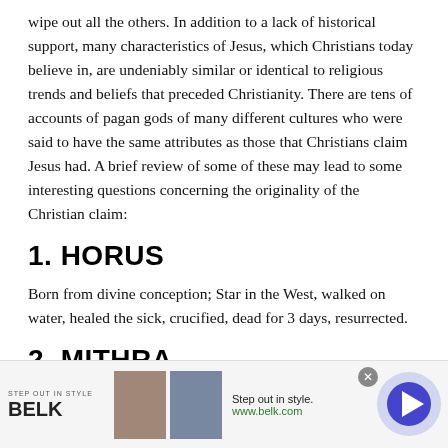wipe out all the others. In addition to a lack of historical support, many characteristics of Jesus, which Christians today believe in, are undeniably similar or identical to religious trends and beliefs that preceded Christianity. There are tens of accounts of pagan gods of many different cultures who were said to have the same attributes as those that Christians claim Jesus had. A brief review of some of these may lead to some interesting questions concerning the originality of the Christian claim:
1. HORUS
Born from divine conception; Star in the West, walked on water, healed the sick, crucified, dead for 3 days, resurrected.
2. MITHRA
[Figure (other): Advertisement banner for Belk department store. Shows 'STEP OUT IN STYLE' text, BELK logo, two product images, tagline 'Step out in style.' and URL 'www.belk.com', with a close button and arrow navigation circle.]